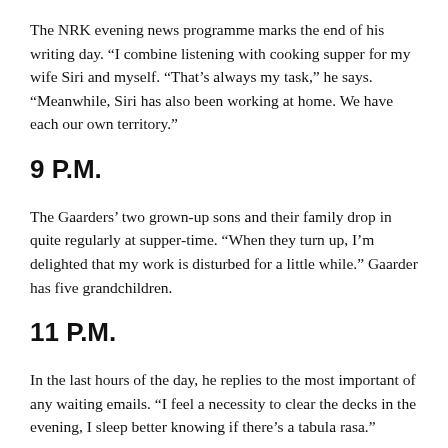The NRK evening news programme marks the end of his writing day. “I combine listening with cooking supper for my wife Siri and myself. “That’s always my task,” he says. “Meanwhile, Siri has also been working at home. We have each our own territory.”
9 P.M.
The Gaarders’ two grown-up sons and their family drop in quite regularly at supper-time. “When they turn up, I’m delighted that my work is disturbed for a little while.” Gaarder has five grandchildren.
11 P.M.
In the last hours of the day, he replies to the most important of any waiting emails. “I feel a necessity to clear the decks in the evening, I sleep better knowing if there’s a tabula rasa.”